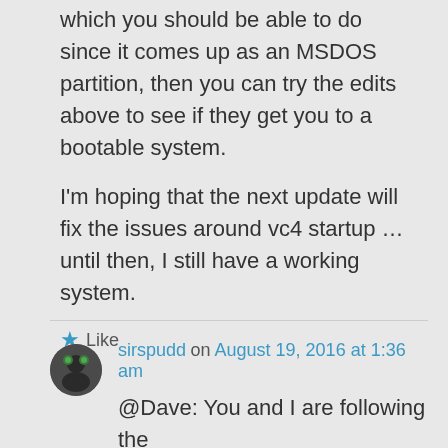which you should be able to do since it comes up as an MSDOS partition, then you can try the edits above to see if they get you to a bootable system.
I'm hoping that the next update will fix the issues around vc4 startup … until then, I still have a working system.
★ Like
sirspudd on August 19, 2016 at 1:36 am
@Dave: You and I are following the